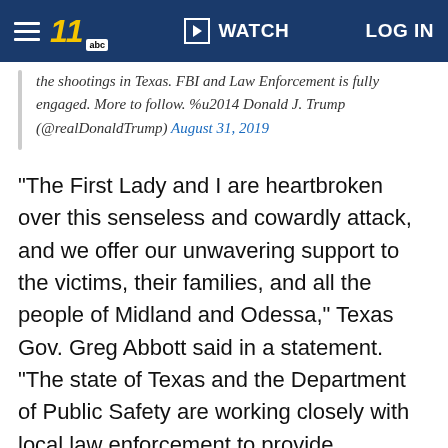WATCH | LOG IN
the shootings in Texas. FBI and Law Enforcement is fully engaged. More to follow. %u2014 Donald J. Trump (@realDonaldTrump) August 31, 2019
"The First Lady and I are heartbroken over this senseless and cowardly attack, and we offer our unwavering support to the victims, their families, and all the people of Midland and Odessa," Texas Gov. Greg Abbott said in a statement. "The state of Texas and the Department of Public Safety are working closely with local law enforcement to provide resources as needed and deliver justice for this heinous attack. I thank the first responders who have acted swiftly and admirably under pressure, and I